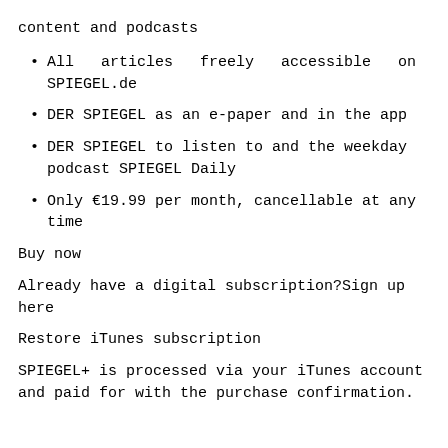content and podcasts
All articles freely accessible on SPIEGEL.de
DER SPIEGEL as an e-paper and in the app
DER SPIEGEL to listen to and the weekday podcast SPIEGEL Daily
Only €19.99 per month, cancellable at any time
Buy now
Already have a digital subscription?Sign up here
Restore iTunes subscription
SPIEGEL+ is processed via your iTunes account and paid for with the purchase confirmation.